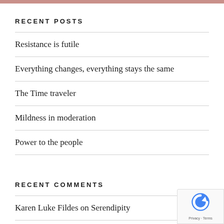RECENT POSTS
Resistance is futile
Everything changes, everything stays the same
The Time traveler
Mildness in moderation
Power to the people
RECENT COMMENTS
Karen Luke Fildes on Serendipity